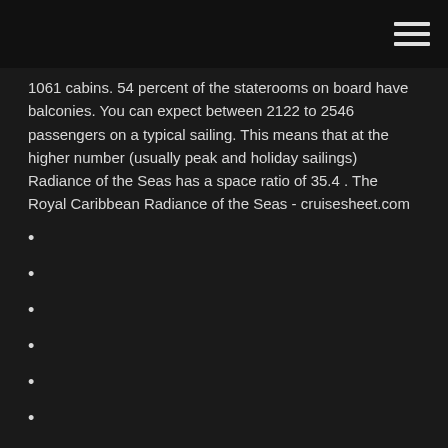[hamburger menu icon]
1061 cabins. 54 percent of the staterooms on board have balconies. You can expect between 2122 to 2546 passengers on a typical sailing. This means that at the higher number (usually peak and holiday sailings) Radiance of the Seas has a space ratio of 35.4 . The Royal Caribbean Radiance of the Seas - cruisesheet.com
From china with love